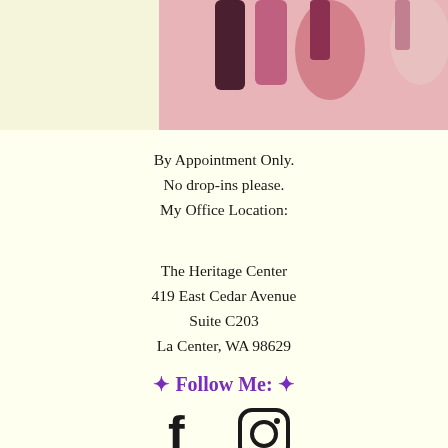[Figure (photo): Top portion of a photo showing beauty/nail products on a pink background, partially cropped]
By Appointment Only.
No drop-ins please.
My Office Location:
The Heritage Center
419 East Cedar Avenue
Suite C203
La Center, WA 98629
✦ Follow Me: ✦
[Figure (illustration): Facebook and Instagram social media icons]
Subscribe to Blissed News! Tap here.